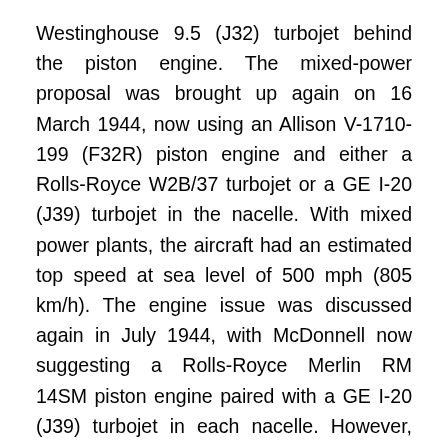Westinghouse 9.5 (J32) turbojet behind the piston engine. The mixed-power proposal was brought up again on 16 March 1944, now using an Allison V-1710-199 (F32R) piston engine and either a Rolls-Royce W2B/37 turbojet or a GE I-20 (J39) turbojet in the nacelle. With mixed power plants, the aircraft had an estimated top speed at sea level of 500 mph (805 km/h). The engine issue was discussed again in July 1944, with McDonnell now suggesting a Rolls-Royce Merlin RM 14SM piston engine paired with a GE I-20 (J39) turbojet in each nacelle. However, AAF felt that the aircraft would need a complete redesign to incorporate different piston engines with turbojets.
Since its initial design in May 1941, there were suggestions of using a modified version of the XP-67 for photo reconnaissance. In April 1942, McDonnell suggested that the size of the nose would be extended to